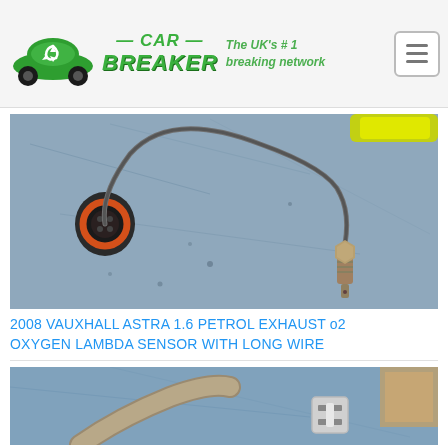CAR BREAKER — The UK's #1 breaking network
[Figure (photo): Photo of a 2008 Vauxhall Astra 1.6 petrol exhaust O2 oxygen lambda sensor with long wire, lying on a grey metal surface. The sensor has a connector plug on one end and a threaded sensor tip on the other, connected by a long curved wire. A yellow and green object is visible in the top right corner.]
2008 VAUXHALL ASTRA 1.6 PETROL EXHAUST o2 OXYGEN LAMBDA SENSOR WITH LONG WIRE
[Figure (photo): Partial photo of a car part (appears to be a seatbelt or strap component with a white plastic connector/buckle) on a blue metal surface, partially cropped at the bottom of the page.]